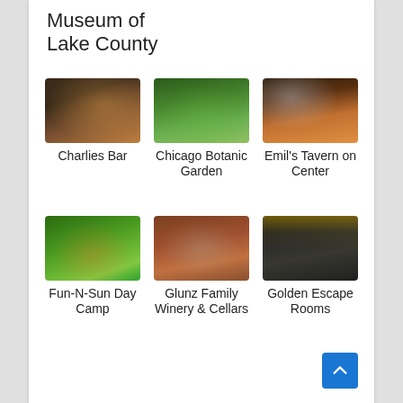Museum of Lake County
[Figure (photo): Crowded bar interior with warm lighting]
Charlies Bar
[Figure (photo): Chicago Botanic Garden with green trees and pond]
Chicago Botanic Garden
[Figure (photo): Emil's Tavern on Center interior with tables and screen]
Emil's Tavern on Center
[Figure (photo): Fun-N-Sun Day Camp group of children in orange shirts outdoors]
Fun-N-Sun Day Camp
[Figure (photo): Glunz Family Winery & Cellars brick building exterior]
Glunz Family Winery & Cellars
[Figure (photo): Golden Escape Rooms storefront with yellow signage]
Golden Escape Rooms